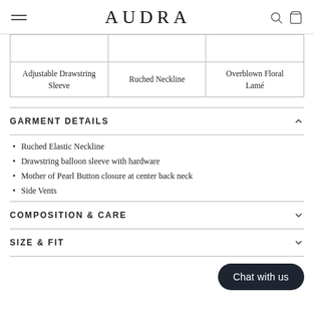AUDRA
|  |  |  |
| --- | --- | --- |
|  |  |  |
| Adjustable Drawstring Sleeve | Ruched Neckline | Overblown Floral Lamé |
GARMENT DETAILS
Ruched Elastic Neckline
Drawstring balloon sleeve with hardware
Mother of Pearl Button closure at center back neck
Side Vents
COMPOSITION & CARE
SIZE & FIT